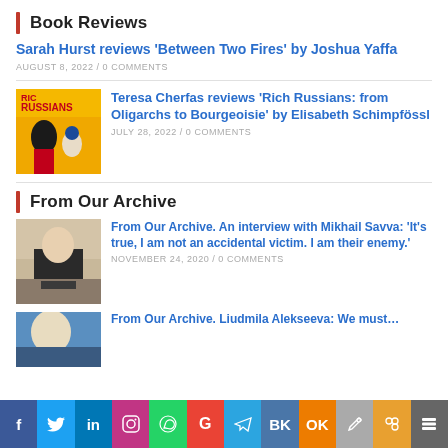Book Reviews
Sarah Hurst reviews 'Between Two Fires' by Joshua Yaffa
AUGUST 8, 2022 / 0 COMMENTS
[Figure (photo): Book cover for Rich Russians]
Teresa Cherfas reviews 'Rich Russians: from Oligarchs to Bourgeoisie' by Elisabeth Schimpfössl
JULY 28, 2022 / 0 COMMENTS
From Our Archive
[Figure (photo): Photo of Mikhail Savva]
From Our Archive. An interview with Mikhail Savva: 'It's true, I am not an accidental victim. I am their enemy.'
NOVEMBER 24, 2020 / 0 COMMENTS
[Figure (photo): Partial photo]
From Our Archive. Liudmila Alekseeva: We must…